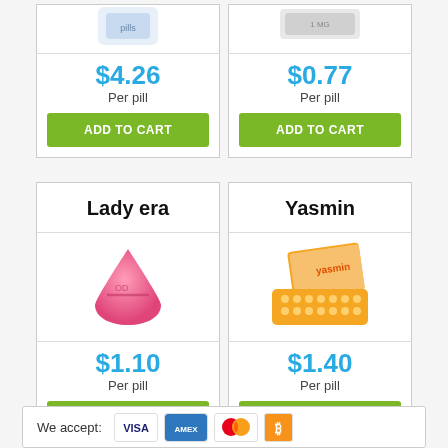[Figure (photo): Partial view of a pill/medication product image (top cropped)]
$4.26
Per pill
ADD TO CART
[Figure (photo): Partial view of a medication box labeled 1 MG (top cropped)]
$0.77
Per pill
ADD TO CART
Lady era
[Figure (photo): Pink triangular pill (Lady era)]
$1.10
Per pill
ADD TO CART
Yasmin
[Figure (photo): Yasmin pill box and blister pack with orange pills]
$1.40
Per pill
ADD TO CART
We accept: [VISA] [AMEX] [Mastercard] [Bitcoin]